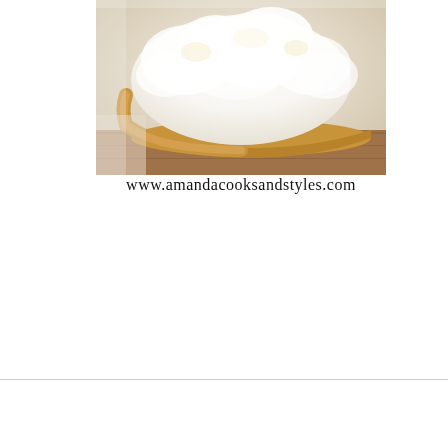[Figure (photo): Close-up photograph of a slice of pie with thick white meringue or cream topping, with a brown crust visible, on a wooden surface]
www.amandacooksandstyles.com